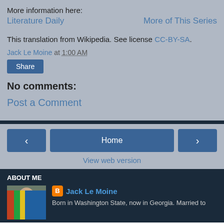More information here:
Literature Daily    More of This Series
This translation from Wikipedia. See license CC-BY-SA.
Jack Le Moine at 1:00 AM
Share
No comments:
Post a Comment
Home
View web version
ABOUT ME
Jack Le Moine
Born in Washington State, now in Georgia. Married to